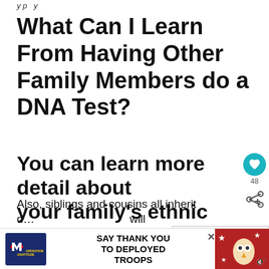y p y
What Can I Learn From Having Other Family Members do a DNA Test?
You can learn more detail about your family's ethnic background
Each generation, some DNA is "lost" (i.e. not passed down to the next generation).
Also, siblings and cousins all inherit d... will
[Figure (screenshot): Social sidebar with heart icon showing teal circle, count 48, and share icon]
[Figure (screenshot): What's Next overlay showing a circular thumbnail with question marks and text: WHAT'S NEXT → Do We Share DNA With All...]
[Figure (screenshot): Operation Gratitude advertisement banner: SAY THANK YOU TO DEPLOYED TROOPS with logo and cartoon image]